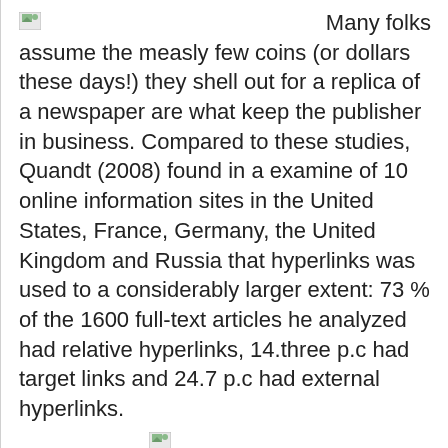[Figure (illustration): Small broken image icon placeholder at top left]
Many folks assume the measly few coins (or dollars these days!) they shell out for a replica of a newspaper are what keep the publisher in business. Compared to these studies, Quandt (2008) found in a examine of 10 online information sites in the United States, France, Germany, the United Kingdom and Russia that hyperlinks was used to a considerably larger extent: 73 % of the 1600 full-text articles he analyzed had relative hyperlinks, 14.three p.c had target links and 24.7 p.c had external hyperlinks.
[Figure (illustration): Small broken image icon placeholder in middle]
[Figure (photo): Business Standard newspaper front page showing masthead and various news articles with photos and a bar chart]